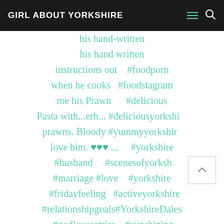GIRL ABOUT YORKSHIRE
his hand written instructions out when he cooks me his Prawn Pasta with...erh... prawns. Bloody love him. ♥♥♥ ... #husband #marriage #love #fridayfeeling #relationshipgoals #godlovesatrier #food #foodie #creamtea #foodporn #foodstagram #delicious #deliciousyorkshire #yummyyorkshire #yorkshire #scenesofyorkshire #yorkshire #activeyorkshire #YorkshireDales #sunshining #happy